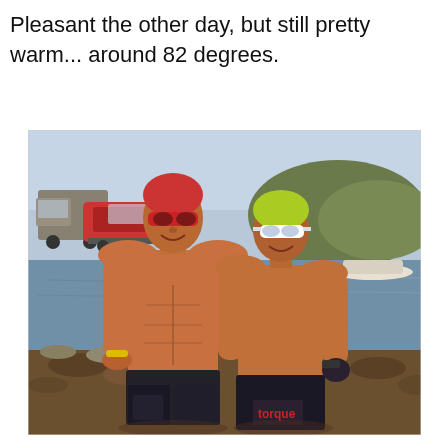Pleasant the other day, but still pretty warm... around 82 degrees.
[Figure (photo): Two athletic men wearing swim caps and goggles standing near a lake shore. The man on the left wears a red swim cap and the man on the right wears a yellow/green swim cap with white goggles. Boats and vehicles are visible in the background along with a rocky hillside and blue water.]